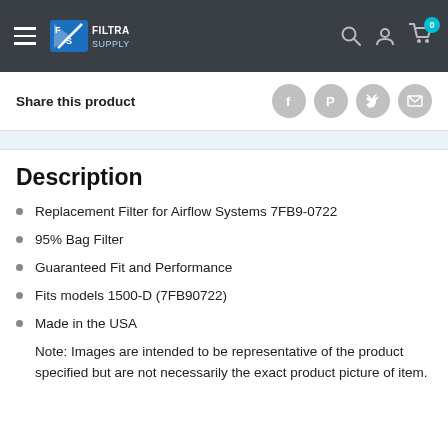Filtra Supply — navigation header with hamburger menu, logo, search, account, and cart icons
Share this product
Description
Replacement Filter for Airflow Systems 7FB9-0722
95% Bag Filter
Guaranteed Fit and Performance
Fits models 1500-D (7FB90722)
Made in the USA
Note: Images are intended to be representative of the product specified but are not necessarily the exact product picture of item.